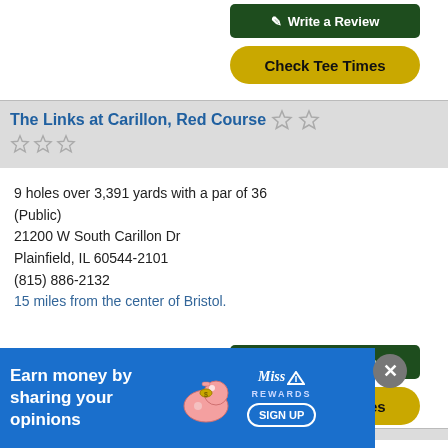[Figure (screenshot): Green 'Write a Review' button at top]
[Figure (screenshot): Yellow/gold 'Check Tee Times' button at top]
The Links at Carillon, Red Course
9 holes over 3,391 yards with a par of 36 (Public)
21200 W South Carillon Dr
Plainfield, IL 60544-2101
(815) 886-2132
15 miles from the center of Bristol.
[Figure (screenshot): Green 'Write a Review' button for Red Course]
[Figure (screenshot): Yellow/gold 'Check Tee Times' button for Red Course]
The Links at Carillon, White Course
ar of 36
[Figure (screenshot): Advertisement banner: Earn money by sharing your opinions - Miss Rewards SIGN UP]